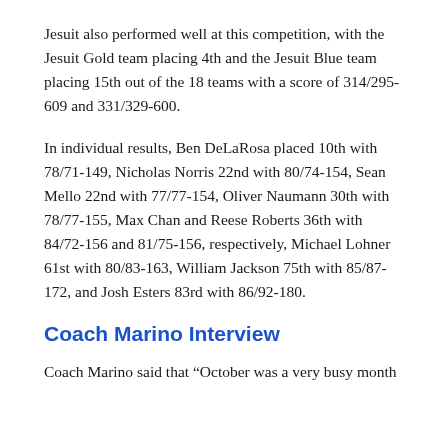Jesuit also performed well at this competition, with the Jesuit Gold team placing 4th and the Jesuit Blue team placing 15th out of the 18 teams with a score of 314/295-609 and 331/329-600.
In individual results, Ben DeLaRosa placed 10th with 78/71-149, Nicholas Norris 22nd with 80/74-154, Sean Mello 22nd with 77/77-154, Oliver Naumann 30th with 78/77-155, Max Chan and Reese Roberts 36th with 84/72-156 and 81/75-156, respectively, Michael Lohner 61st with 80/83-163, William Jackson 75th with 85/87-172, and Josh Esters 83rd with 86/92-180.
Coach Marino Interview
Coach Marino said that “October was a very busy month